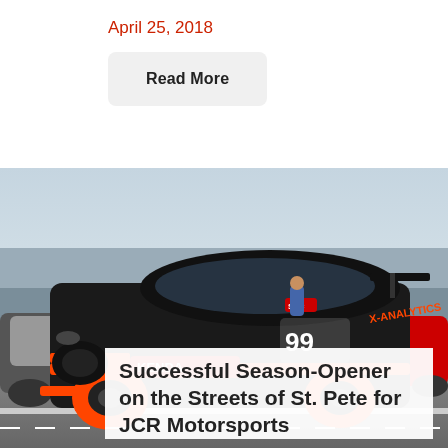April 25, 2018
Read More
[Figure (photo): A black and orange Maserati GT race car with number 99 and X-Analytics sponsorship, parked in pit lane at a racing circuit with other cars visible in the background.]
Successful Season-Opener on the Streets of St. Pete for JCR Motorsports